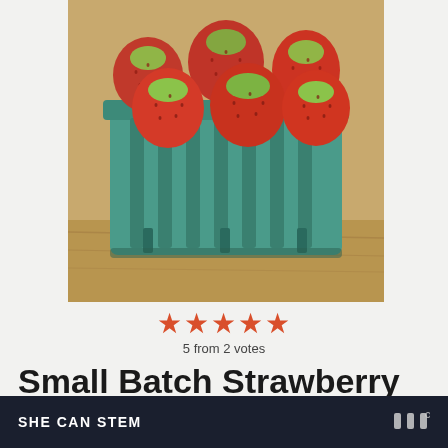[Figure (photo): A pint of fresh red strawberries in a teal/green cardboard berry basket, photographed on a wooden surface]
★★★★★
5 from 2 votes
Small Batch Strawberry Vanilla Jam
Author: Marisa McClellan
SHE CAN STEM